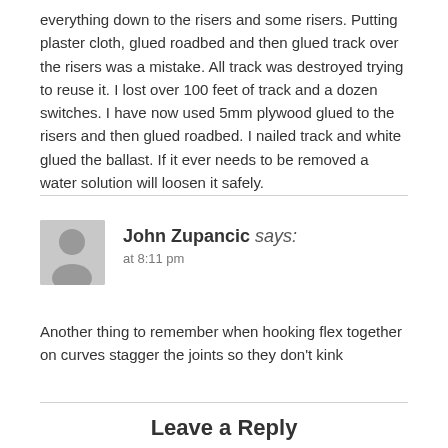everything down to the risers and some risers. Putting plaster cloth, glued roadbed and then glued track over the risers was a mistake. All track was destroyed trying to reuse it. I lost over 100 feet of track and a dozen switches. I have now used 5mm plywood glued to the risers and then glued roadbed. I nailed track and white glued the ballast. If it ever needs to be removed a water solution will loosen it safely.
John Zupancic says:
at 8:11 pm
Another thing to remember when hooking flex together on curves stagger the joints so they don't kink
Leave a Reply